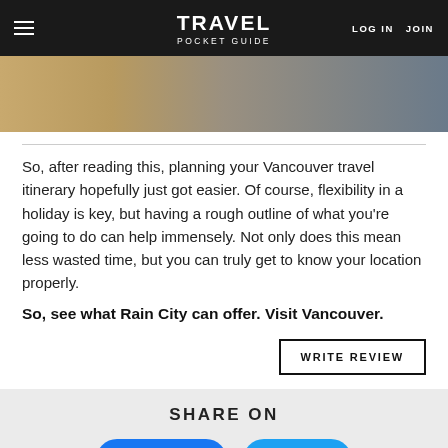TRAVEL POCKET GUIDE | LOG IN  JOIN
[Figure (photo): Partial view of a wooden table surface with a dark background, appearing to be a travel/restaurant scene]
So, after reading this, planning your Vancouver travel itinerary hopefully just got easier. Of course, flexibility in a holiday is key, but having a rough outline of what you're going to do can help immensely. Not only does this mean less wasted time, but you can truly get to know your location properly.
So, see what Rain City can offer. Visit Vancouver.
WRITE REVIEW
SHARE ON
Share 20
Tweet